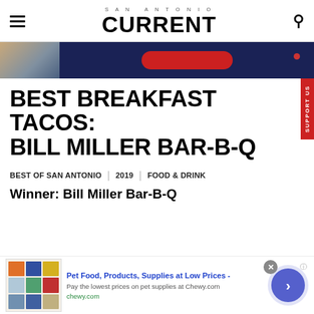SAN ANTONIO CURRENT
[Figure (screenshot): Advertisement banner with people in denim and a red pill-shaped button on dark blue background]
BEST BREAKFAST TACOS: BILL MILLER BAR-B-Q
BEST OF SAN ANTONIO | 2019 | FOOD & DRINK
Winner: Bill Miller Bar-B-Q
[Figure (screenshot): Advertisement for Chewy.com - Pet Food, Products, Supplies at Low Prices - chewy.com]